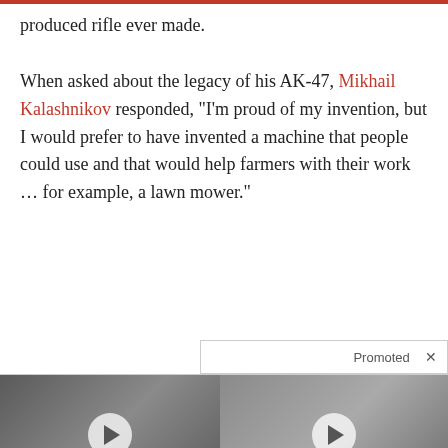produced rifle ever made.

When asked about the legacy of his AK-47, Mikhail Kalashnikov responded, “I’m proud of my invention, but I would prefer to have invented a machine that people could use and that would help farmers with their work … for example, a lawn mower.”
[Figure (other): Promoted ad section with two video thumbnails showing political figures (Trump/Melania and Kamala Harris), and a popup ad card for 'A Tragic End Today For Willie Nelson - Breaking News']